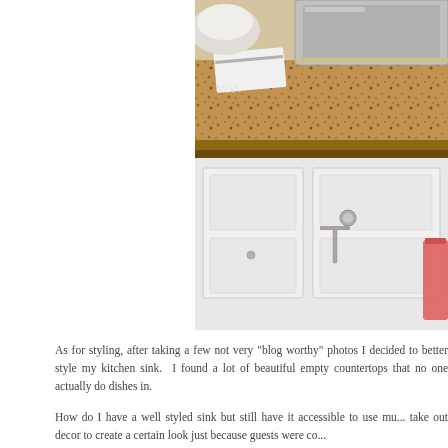[Figure (photo): Close-up photo of a kitchen sink area with a granite countertop, stainless steel sink, white kitchen cabinets with brushed nickel hardware, a white dish towel, and a pink/coral colored cup visible at the right edge.]
As for styling, after taking a few not very "blog worthy" photos I decided to better style my kitchen sink.  I found a lot of beautiful empty countertops that no one actually do dishes in.
How do I have a well styled sink but still have it accessible to use mu... take out decor to create a certain look just because guests were co...